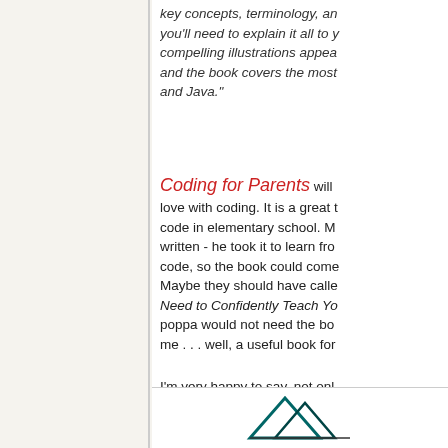key concepts, terminology, and you'll need to explain it all to y compelling illustrations appea and the book covers the most and Java."
Coding for Parents will love with coding. It is a great t code in elementary school. M written - he took it to learn fro code, so the book could come Maybe they should have calle Need to Confidently Teach Yo poppa would not need the bo me . . . well, a useful book for
I'm very happy to say, not onl
[Figure (illustration): Partial view of a book cover with teal/dark geometric design elements]